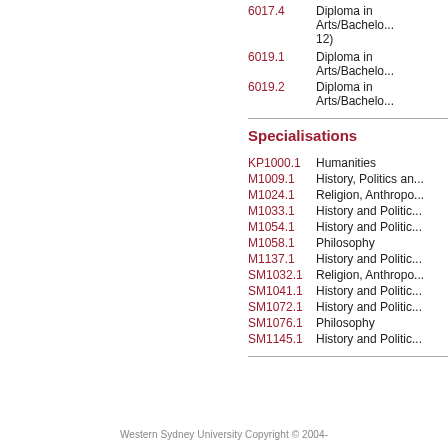6017.4   Diploma in Arts/Bachelor... 12)
6019.1   Diploma in Arts/Bachelor...
6019.2   Diploma in Arts/Bachelor...
Specialisations
KP1000.1   Humanities
M1009.1   History, Politics an...
M1024.1   Religion, Anthropo...
M1033.1   History and Politic...
M1054.1   History and Politic...
M1058.1   Philosophy
M1137.1   History and Politic...
SM1032.1   Religion, Anthropo...
SM1041.1   History and Politic...
SM1072.1   History and Politic...
SM1076.1   Philosophy
SM1145.1   History and Politic...
Western Sydney University Copyright © 2004-